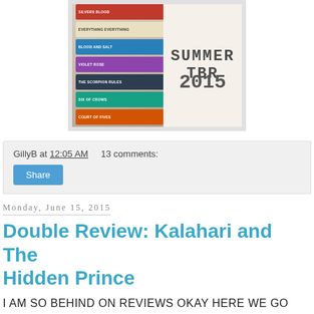[Figure (photo): Photo of a stack of books next to a 'Summer TBR 2015' sign with chevron pattern background. Visible book titles include: Silvers Blood, Everything Everything, Blood and Salt, Violet Rose(?), The Scorpion Rules, Six of Crows, Court of Fives.]
GillyB at 12:05 AM    13 comments:
Share
Monday, June 15, 2015
Double Review: Kalahari and The Hidden Prince
I AM SO BEHIND ON REVIEWS OKAY HERE WE GO